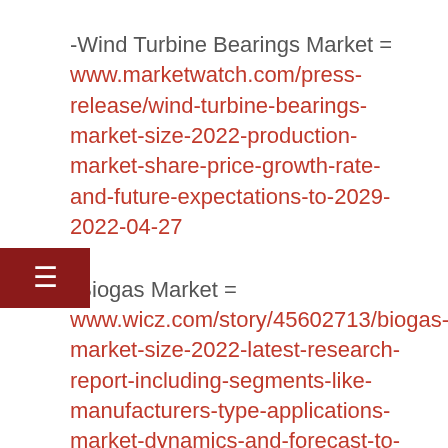-Wind Turbine Bearings Market = www.marketwatch.com/press-release/wind-turbine-bearings-market-size-2022-production-market-share-price-growth-rate-and-future-expectations-to-2029-2022-04-27
-Biogas Market = www.wicz.com/story/45602713/biogas-market-size-2022-latest-research-report-including-segments-like-manufacturers-type-applications-market-dynamics-and-forecast-to-2025-says-absolute-reports
-Paint Sprayer Market = www.wicz.com/story/45737635/paint-sprayer-market-size-2022-global-analysis-by-opportunity-